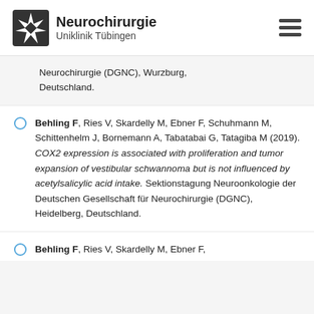Neurochirurgie Uniklinik Tübingen
Neurochirurgie (DGNC), Wurzburg, Deutschland.
Behling F, Ries V, Skardelly M, Ebner F, Schuhmann M, Schittenhelm J, Bornemann A, Tabatabai G, Tatagiba M (2019). COX2 expression is associated with proliferation and tumor expansion of vestibular schwannoma but is not influenced by acetylsalicylic acid intake. Sektionstagung Neuroonkologie der Deutschen Gesellschaft für Neurochirurgie (DGNC), Heidelberg, Deutschland.
Behling F, Ries V, Skardelly M, Ebner F,